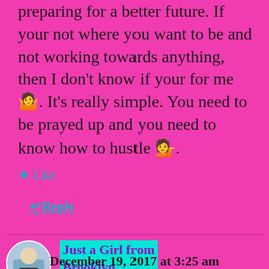preparing for a better future. If your not where you want to be and not working towards anything, then I don't know if your for me🤷. It's really simple. You need to be prayed up and you need to know how to hustle 💁.
★ Like
↩ Reply
Just a Girl from Brooklyn
December 19, 2017 at 3:25 am